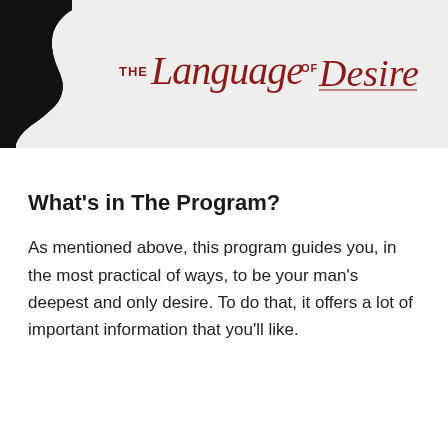[Figure (logo): The Language of Desire logo with a black silhouette of a woman's face profile on the left and stylized red script text reading 'THE Language OF Desire' on a light gray background.]
What's in The Program?
As mentioned above, this program guides you, in the most practical of ways, to be your man's deepest and only desire. To do that, it offers a lot of important information that you'll like.